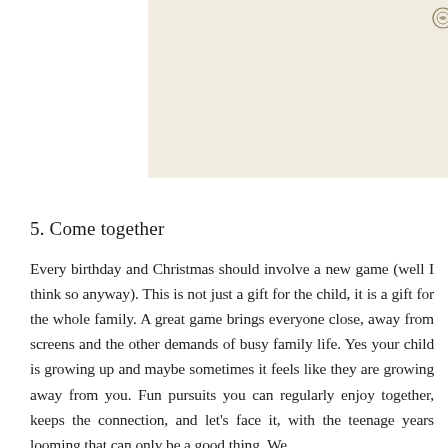[Figure (photo): Partial view of a cream-colored card or envelope with a small emblem near the top, overlaid with a tan/khaki colored rectangular block in the upper right corner.]
5. Come together
Every birthday and Christmas should involve a new game (well I think so anyway). This is not just a gift for the child, it is a gift for the whole family. A great game brings everyone close, away from screens and the other demands of busy family life. Yes your child is growing up and maybe sometimes it feels like they are growing away from you. Fun pursuits you can regularly enjoy together, keeps the connection, and let's face it, with the teenage years looming that can only be a good thing. We